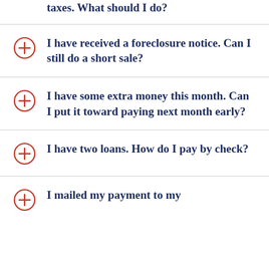taxes. What should I do? (partial, top)
I have received a foreclosure notice. Can I still do a short sale?
I have some extra money this month. Can I put it toward paying next month early?
I have two loans. How do I pay by check?
I mailed my payment to my (partial, bottom)